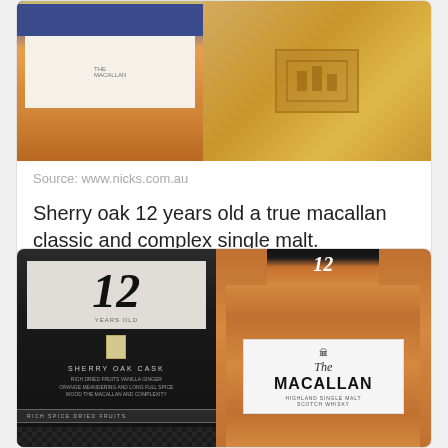[Figure (photo): Macallan whisky bottle and wooden box packaging]
Source: www.nicks.com.au
Sherry oak 12 years old a true macallan classic and complex single malt.
[Figure (photo): Macallan 12 Year Old Sherry Oak Cask bottle next to dark box packaging showing The Macallan Highland Single Malt Scotch Whisky label]